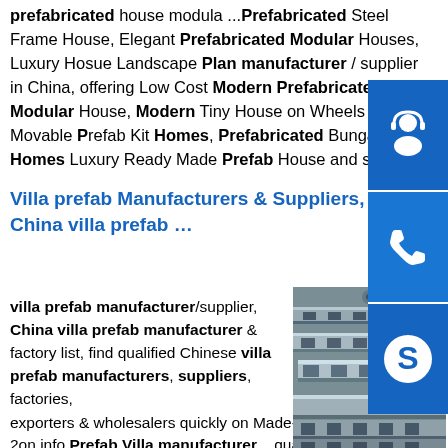prefabricated house modula ...Prefabricated Steel Frame House, Elegant Prefabricated Modular Houses, Luxury Hosue Landscape Plan manufacturer / supplier in China, offering Low Cost Modern Prefabricated Modular House, Modern Tiny House on Wheels Movable Prefab Kit Homes, Prefabricated Bungalow Homes Luxury Ready Made Prefab House and so on.
Villa prefab Manufacturers & Suppliers, China villa prefab …
villa prefab manufacturer/supplier, China villa prefab manufacturer & factory list, find qualified Chinese villa prefab manufacturers, suppliers, factories, exporters & wholesalers quickly on Made-in-China.com., page 2on.info Prefab Villa manufacturer... quality Prefab
[Figure (photo): Stack of steel channel sections (C-channel steel profiles) photographed indoors]